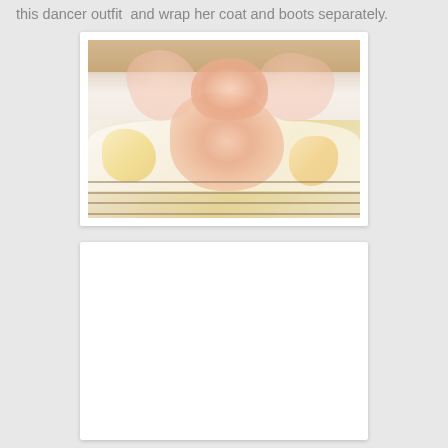this dancer outfit  and wrap her coat and boots separately.
[Figure (photo): A wrapped dancer outfit with peach/pink lace, ruffles and tulle bow on top, placed on what appears to be a radiator or slatted surface with light wood background. The outfit includes floral patterned fabric in yellow/green tones.]
[Figure (photo): A blank white photo card or placeholder image below the dancer outfit photo.]